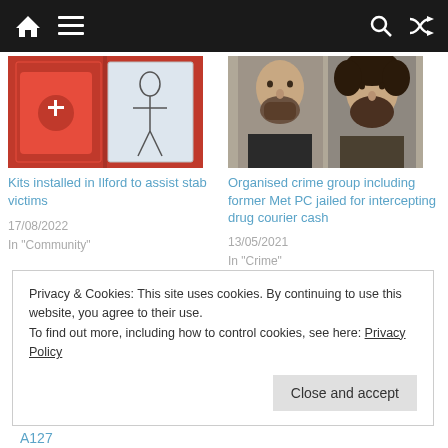Navigation bar with home, menu, search, shuffle icons
[Figure (photo): Red emergency defibrillator/first-aid kit cabinet on wall next to a body outline poster]
Kits installed in Ilford to assist stab victims
17/08/2022
In "Community"
[Figure (photo): Two men in police mugshot style photos side by side — one bald with dark beard, one with curly dark hair and beard]
Organised crime group including former Met PC jailed for intercepting drug courier cash
13/05/2021
In "Crime"
Privacy & Cookies: This site uses cookies. By continuing to use this website, you agree to their use.
To find out more, including how to control cookies, see here: Privacy Policy
Close and accept
A127